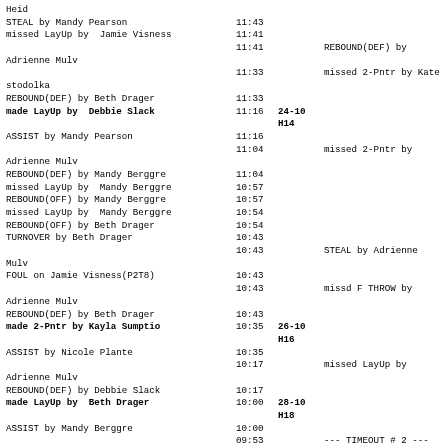Play-by-play game log showing home and away team actions with times and scores
| Home | Time | Score | Away |
| --- | --- | --- | --- |
| Heid |  |  |  |
| STEAL by Mandy Pearson | 11:43 |  |  |
| missed LayUp by  Jamie Visness | 11:41 |  |  |
|  | 11:41 |  | REBOUND(DEF) by Adrienne Mulv |
|  | 11:33 |  | missed 2-Pntr by Kate Stodolka |
| REBOUND(DEF) by Beth Drager | 11:33 |  |  |
| made LayUp by  Debbie Slack | 11:16 | 24-10 H14 |  |
| ASSIST by Mandy Pearson | 11:16 |  |  |
|  | 11:04 |  | missed 2-Pntr by Adrienne Mulv |
| REBOUND(DEF) by Mandy Berggre | 11:04 |  |  |
| missed LayUp by  Mandy Berggre | 10:57 |  |  |
| REBOUND(OFF) by Mandy Berggre | 10:57 |  |  |
| missed LayUp by  Mandy Berggre | 10:54 |  |  |
| REBOUND(OFF) by Beth Drager | 10:54 |  |  |
| TURNOVER by Beth Drager | 10:43 |  |  |
|  | 10:43 |  | STEAL by Adrienne Mulv |
| FOUL on Jamie Visness(P2T8) | 10:43 |  |  |
|  | 10:43 |  | missd F THROW by Adrienne Mulv |
| REBOUND(DEF) by Beth Drager | 10:43 |  |  |
| made 2-Pntr by Kayla Sumptio | 10:35 | 26-10 H16 |  |
| ASSIST by Nicole Plante | 10:35 |  |  |
|  | 10:17 |  | missed LayUp by Adrienne Mulv |
| REBOUND(DEF) by Debbie Slack | 10:17 |  |  |
| made LayUp by  Beth Drager | 10:00 | 28-10 H18 |  |
| ASSIST by Mandy Berggre | 10:00 |  |  |
|  | 09:53 |  | --- TIMEOUT # 2 --- |
|  | 09:45 |  | missed 2-Pntr by Lisa Juth |
| BLOCKED by Beth Drager | 09:45 |  |  |
|  | 09:36 |  | TURNOVER by Natalie Lyzho |
| STEAL by Kayla Sumptio | 09:35 |  |  |
| missed 2-Pntr by Debbie Slack | 09:29 |  |  |
|  | 09:29 |  | REBOUND(DEF) by Adrienne Mulv |